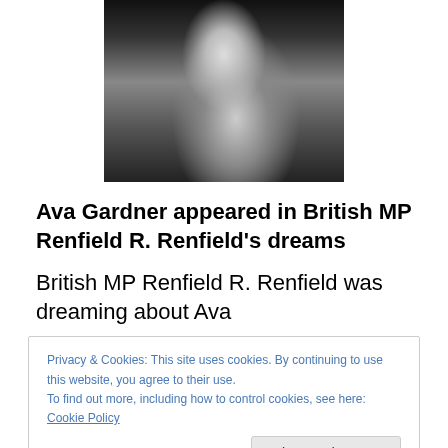[Figure (photo): Black and white photograph of a person (Ava Gardner), partially cropped, showing torso and arms in a dark artistic portrait style]
Ava Gardner appeared in British MP Renfield R. Renfield's dreams
British MP Renfield R. Renfield was dreaming about Ava
Privacy & Cookies: This site uses cookies. By continuing to use this website, you agree to their use.
To find out more, including how to control cookies, see here: Cookie Policy
Close and accept
Almost time for his live Saturday night podcast.